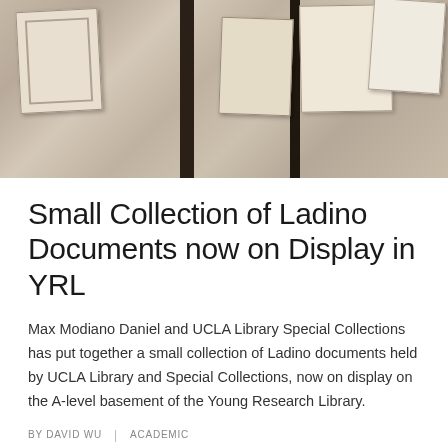[Figure (photo): Sepia-toned photograph of historical Ladino documents displayed on a surface, showing old manuscript pages and printed texts]
Small Collection of Ladino Documents now on Display in YRL
Max Modiano Daniel and UCLA Library Special Collections has put together a small collection of Ladino documents held by UCLA Library and Special Collections, now on display on the A-level basement of the Young Research Library.
BY DAVID WU  |  ACADEMIC
DETAIL >